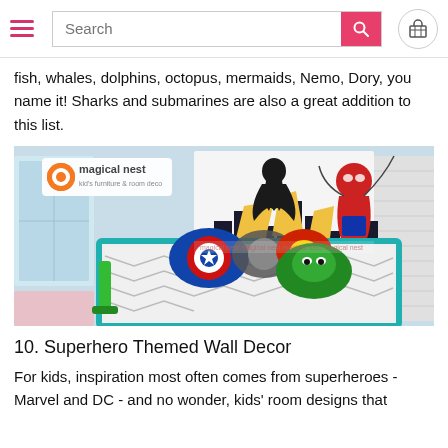Search [search bar] [cart]
fish, whales, dolphins, octopus, mermaids, Nemo, Dory, you name it! Sharks and submarines are also a great addition to this list.
[Figure (photo): A superhero themed kids bedroom with Spiderman and Batman wall decals over a city skyline, a bed with Marvel character pillows including Captain America shield, Hulk, and Iron Man themed cushions. The room has a blue framed bed with a green slide. A watermark reading 'magical nest - kid's furniture & room deco' is visible in the top left corner.]
10. Superhero Themed Wall Decor
For kids, inspiration most often comes from superheroes - Marvel and DC - and no wonder, kids' room designs that